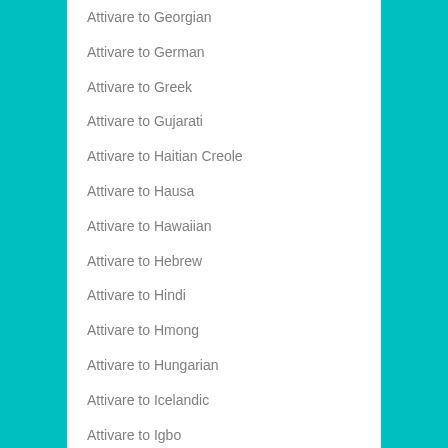Attivare to Georgian
Attivare to German
Attivare to Greek
Attivare to Gujarati
Attivare to Haitian Creole
Attivare to Hausa
Attivare to Hawaiian
Attivare to Hebrew
Attivare to Hindi
Attivare to Hmong
Attivare to Hungarian
Attivare to Icelandic
Attivare to Igbo
Attivare to Indonesian